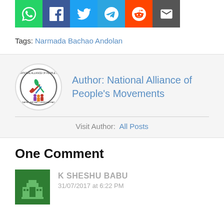[Figure (infographic): Row of social share buttons: WhatsApp (green), Facebook (blue), Twitter (light blue), Telegram (blue), Reddit (orange), Email (dark grey)]
Tags: Narmada Bachao Andolan
[Figure (logo): National Alliance of People's Movements circular logo with colorful figures and tools]
Author: National Alliance of People's Movements
Visit Author:  All Posts
One Comment
[Figure (photo): Green avatar/icon for commenter K SHESHU BABU with pixel-art building graphic]
K SHESHU BABU
31/07/2017 at 6:22 PM